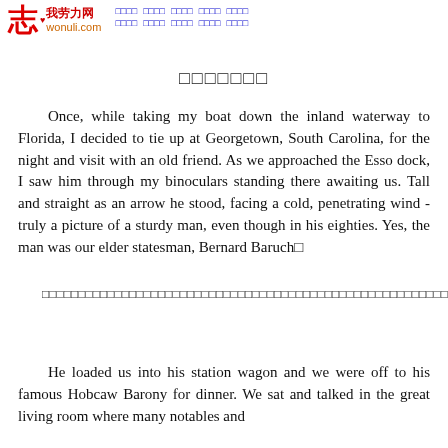志 我劳力网 wonuli.com [navigation links in Chinese]
□□□□□□□
Once, while taking my boat down the inland waterway to Florida, I decided to tie up at Georgetown, South Carolina, for the night and visit with an old friend. As we approached the Esso dock, I saw him through my binoculars standing there awaiting us. Tall and straight as an arrow he stood, facing a cold, penetrating wind - truly a picture of a sturdy man, even though in his eighties. Yes, the man was our elder statesman, Bernard Baruch□
□□□□□□□□□□□□□□□□□□□□□□□□□□□□□□□□□□□□□□□□□□□□□□□□□□□□□□□□□□□□□□□□□□□□□□□□□□□□□□□□□□□□□□□□□□□□□□□□□□□□□□□□□□□□□□□□□□□□□□□□□□□□□□□□□□□□□□□□□□□□□□□□□□□□□□□□□□□□□□□□□□□□□□□□□□□□□□□□□□□□□□□□□□□□□□□□□□□□□□□□□□□□
He loaded us into his station wagon and we were off to his famous Hobcaw Barony for dinner. We sat and talked in the great living room where many notables and